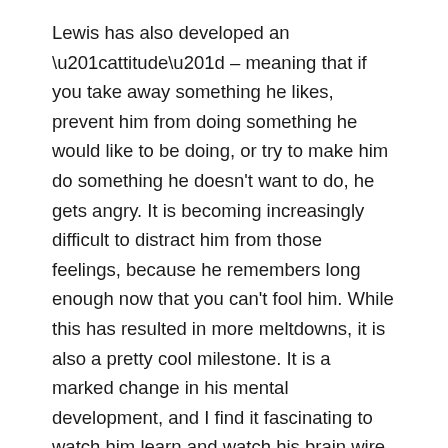Lewis has also developed an “attitude” – meaning that if you take away something he likes, prevent him from doing something he would like to be doing, or try to make him do something he doesn’t want to do, he gets angry. It is becoming increasingly difficult to distract him from those feelings, because he remembers long enough now that you can’t fool him. While this has resulted in more meltdowns, it is also a pretty cool milestone. It is a marked change in his mental development, and I find it fascinating to watch him learn and watch his brain wire itself.
I’m looking forward to seeing where his preferences start to fall, and I can also see that this is leading towards a new milestone, where he understands rules and expectations. So I have started saying “no” to him, and redirecting him when he is doing things that he shouldn’t do. Kyle and I are also both praising him for doing appropriate things. I feel like